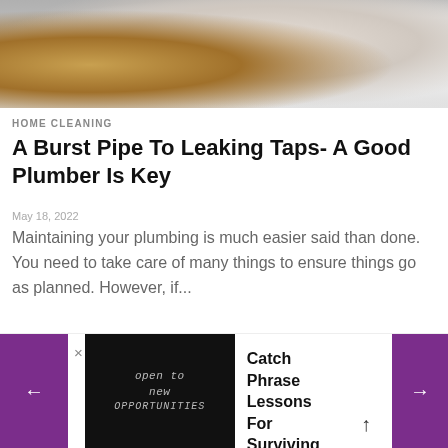[Figure (photo): Close-up photo of food/rust/granular material on left and white crystalline/salt material on right, blurred background]
HOME CLEANING
A Burst Pipe To Leaking Taps- A Good Plumber Is Key
May 18, 2022
Maintaining your plumbing is much easier said than done. You need to take care of many things to ensure things go as planned. However, if...
[Figure (photo): Partial view of a second article image, appears to be a light-colored surface or material]
[Figure (photo): Thumbnail image showing text 'open to new OPPORTUNITIES' written on a dark/black background]
Catch Phrase Lessons For Surviving in the Tech World